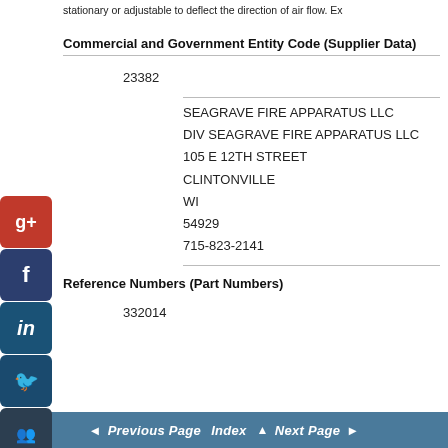stationary or adjustable to deflect the direction of air flow. Ex
Commercial and Government Entity Code (Supplier Data)
23382
SEAGRAVE FIRE APPARATUS LLC
DIV SEAGRAVE FIRE APPARATUS LLC
105 E 12TH STREET
CLINTONVILLE
WI
54929
715-823-2141
Reference Numbers (Part Numbers)
332014
Previous Page  Index  Next Page